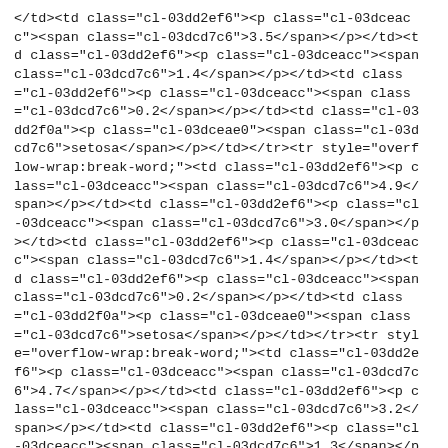</td><td class="cl-03dd2ef6"><p class="cl-03dceacc"><span class="cl-03dcd7c6">3.5</span></p></td><td class="cl-03dd2ef6"><p class="cl-03dceacc"><span class="cl-03dcd7c6">1.4</span></p></td><td class="cl-03dd2ef6"><p class="cl-03dceacc"><span class="cl-03dcd7c6">0.2</span></p></td><td class="cl-03dd2f0a"><p class="cl-03dceae0"><span class="cl-03dcd7c6">setosa</span></p></td></tr><tr style="overflow-wrap:break-word;"><td class="cl-03dd2ef6"><p class="cl-03dceacc"><span class="cl-03dcd7c6">4.9</span></p></td><td class="cl-03dd2ef6"><p class="cl-03dceacc"><span class="cl-03dcd7c6">3.0</span></p></td><td class="cl-03dd2ef6"><p class="cl-03dceacc"><span class="cl-03dcd7c6">1.4</span></p></td><td class="cl-03dd2ef6"><p class="cl-03dceacc"><span class="cl-03dcd7c6">0.2</span></p></td><td class="cl-03dd2f0a"><p class="cl-03dceae0"><span class="cl-03dcd7c6">setosa</span></p></td></tr><tr style="overflow-wrap:break-word;"><td class="cl-03dd2ef6"><p class="cl-03dceacc"><span class="cl-03dcd7c6">4.7</span></p></td><td class="cl-03dd2ef6"><p class="cl-03dceacc"><span class="cl-03dcd7c6">3.2</span></p></td><td class="cl-03dd2ef6"><p class="cl-03dceacc"><span class="cl-03dcd7c6">1.3</span></p></td>